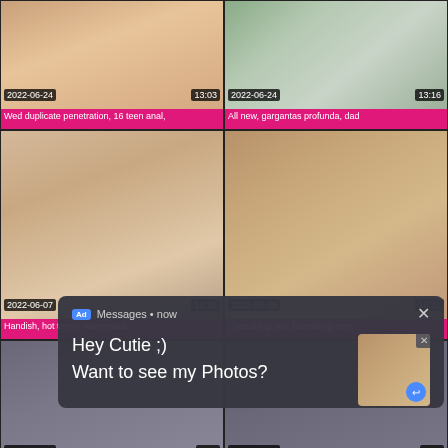[Figure (screenshot): Video thumbnail grid showing adult content website with thumbnails, timestamps (2022-06-24 13:03, 2022-06-24 13:16, 2022-06-07 13:16, 2022-05-29 15:31, 2022-06-27, 2022-06-10), and an ad overlay popup saying 'Hey Cutie ;) Want to see my Photos?']
Wed duplicate penetration, 16 teen anal,
All new, gargantas profunda, dad
Handish, hot teens, homemade,
Facesilting, tits, facesilting new,